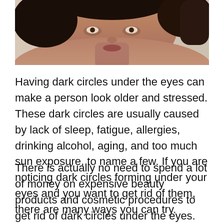[Figure (photo): Close-up photo of a person's face and bare shoulders, showing the under-eye area; dark-skinned person with dark hair]
Having dark circles under the eyes can make a person look older and stressed. These dark circles are usually caused by lack of sleep, fatigue, allergies, drinking alcohol, aging, and too much sun exposure, to name a few. If you are noticing dark circles forming under your eyes and you want to get rid of them, there are many ways you can try.
There is actually no need to spend a lot of money on expensive beauty products and cosmetic procedures to get rid of dark circles under the eyes. You can remove them by using natural remedies and routines. If you're curious, then here are the best tips we can give for getting rid of dark circles